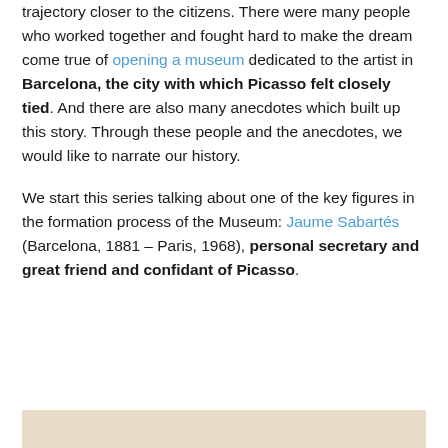trajectory closer to the citizens. There were many people who worked together and fought hard to make the dream come true of opening a museum dedicated to the artist in Barcelona, the city with which Picasso felt closely tied. And there are also many anecdotes which built up this story. Through these people and the anecdotes, we would like to narrate our history.
We start this series talking about one of the key figures in the formation process of the Museum: Jaume Sabartés (Barcelona, 1881 – Paris, 1968), personal secretary and great friend and confidant of Picasso.
[Figure (other): Beige/tan colored horizontal bar at the bottom of the page]